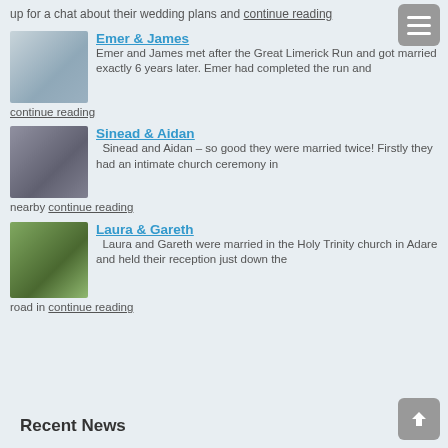up for a chat about their wedding plans and continue reading
[Figure (photo): Wedding photo of Emer and James outdoors by water]
Emer & James
Emer and James met after the Great Limerick Run and got married exactly 6 years later. Emer had completed the run and continue reading
[Figure (photo): Wedding photo of Sinead and Aidan indoors]
Sinead & Aidan
Sinead and Aidan – so good they were married twice! Firstly they had an intimate church ceremony in nearby continue reading
[Figure (photo): Wedding photo of Laura and Gareth outdoors with greenery]
Laura & Gareth
Laura and Gareth were married in the Holy Trinity church in Adare and held their reception just down the road in continue reading
Recent News